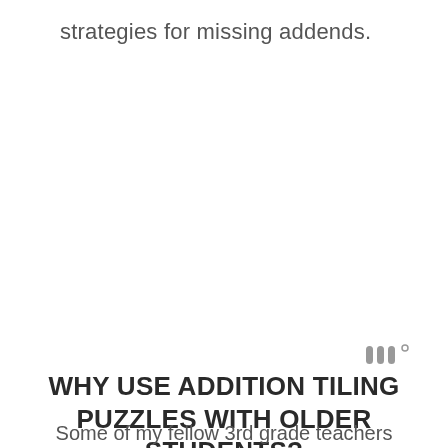strategies for missing addends.
[Figure (logo): Small logo mark with three vertical bar-like shapes and a small superscript circle, in gray]
WHY USE ADDITION TILING PUZZLES WITH OLDER STUDENTS?
Some of my fellow 3rd grade teachers